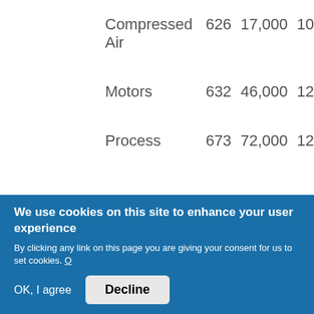| Compressed Air | 626 | 17,000 | 10 |
| Motors | 632 | 46,000 | 12 |
| Process | 673 | 72,000 | 12 |
We use cookies on this site to enhance your user experience
By clicking any link on this page you are giving your consent for us to set cookies. O
OK, I agree   Decline